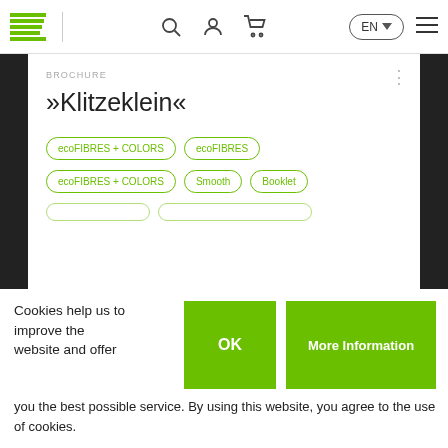Navigation bar with logo, search, account, cart, language selector EN, and hamburger menu
BROCHURE
»Klitzeklein«
ecoFIBRES + COLORS
ecoFIBRES
ecoFIBRES + COLORS
Smooth
Booklet
Cookies help us to improve the website and offer you the best possible service. By using this website, you agree to the use of cookies.